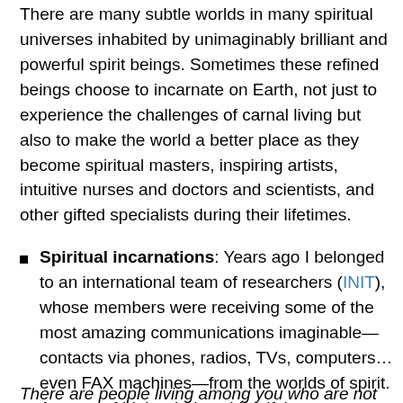There are many subtle worlds in many spiritual universes inhabited by unimaginably brilliant and powerful spirit beings. Sometimes these refined beings choose to incarnate on Earth, not just to experience the challenges of carnal living but also to make the world a better place as they become spiritual masters, inspiring artists, intuitive nurses and doctors and scientists, and other gifted specialists during their lifetimes.
Spiritual incarnations: Years ago I belonged to an international team of researchers (INIT), whose members were receiving some of the most amazing communications imaginable—contacts via phones, radios, TVs, computers… even FAX machines—from the worlds of spirit. A group of higher beings identifying themselves as "The Seven" told us:
There are people living among you who are not really